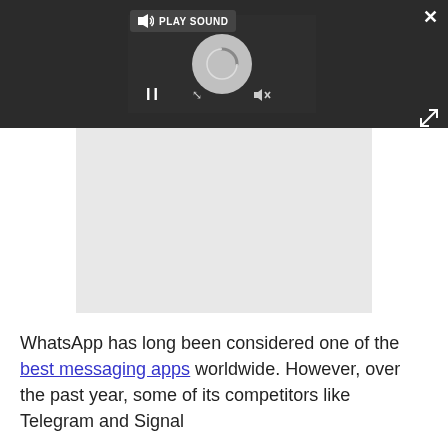[Figure (screenshot): Video player overlay with dark top bar showing a loading spinner, pause button, volume icon, and 'PLAY SOUND' button. A light gray embedded media area is visible below.]
WhatsApp has long been considered one of the best messaging apps worldwide. However, over the past year, some of its competitors like Telegram and Signal